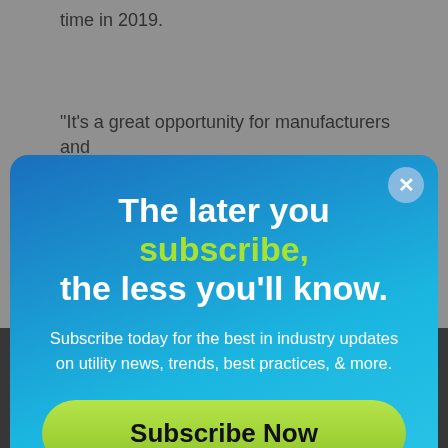time in 2019.
“It’s a great opportunity for manufacturers and
[Figure (screenshot): Modal popup overlay on a web article. Blue gradient background modal with headline 'The later you subscribe, the less you’ll know.' with 'subscribe' in green. Subtitle: 'Subscribe today for the best in industry updates on utility news, trends, best practices, & more.' A green 'Subscribe Now' button and a 'No thanks I don’t want to subscribe.' link. Close button (x) in top right corner.]
No thanks I don’t want to subscribe.
SIGN UP